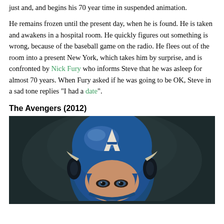just and, and begins his 70 year time in suspended animation.
He remains frozen until the present day, when he is found. He is taken and awakens in a hospital room. He quickly figures out something is wrong, because of the baseball game on the radio. He flees out of the room into a present New York, which takes him by surprise, and is confronted by Nick Fury who informs Steve that he was asleep for almost 70 years. When Fury asked if he was going to be OK, Steve in a sad tone replies "I had a date".
The Avengers (2012)
[Figure (photo): Captain America wearing a blue helmet with a white 'A' on the forehead, photographed against a dark blurred background. Close-up portrait shot.]